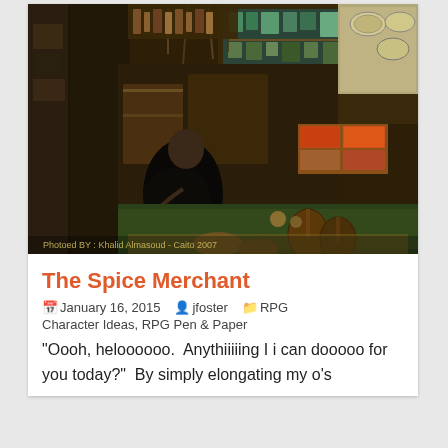[Figure (photo): A richly colored HDR photograph of an Egyptian bazaar/market stall in Cairo. A vendor in dark robes sits on the left amid an abundance of handicrafts, spices, pottery, decorative items, and musical instruments displayed on shelves and the ground. The image has a warm, saturated tone. A watermark reads: Photoed BY : Khalid Almasoud - Caito 2007]
The Spice Merchant
January 16, 2015   jfoster   RPG Character Ideas, RPG Pen & Paper
“Oooh, heloooooo.  Anythiiiiing I i can dooooo for you today?”  By simply elongating my o’s